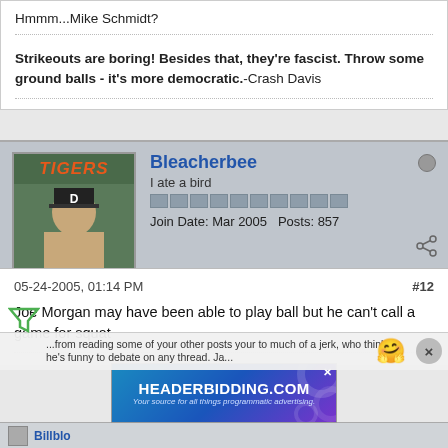Hmmm...Mike Schmidt?
Strikeouts are boring! Besides that, they're fascist. Throw some ground balls - it's more democratic.-Crash Davis
Bleacherbee
I ate a bird
Join Date: Mar 2005   Posts: 857
05-24-2005, 01:14 PM
#12
Joe Morgan may have been able to play ball but he can't call a game for squat
...from reading some of your other posts your to much of a jerk, who thinks he's funny to debate on any thread. Ja...
HEADERBIDDING.COM Your source for all things programmatic advertising.